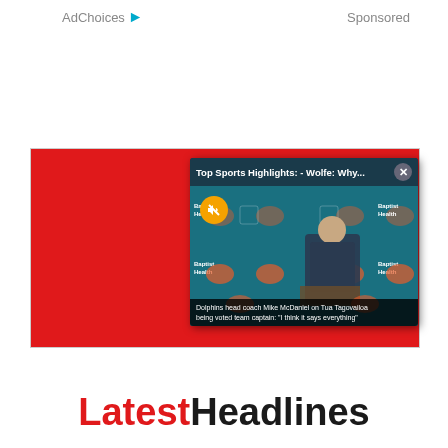AdChoices ▷    Sponsored
[Figure (screenshot): Red advertisement banner with an embedded video popup showing 'Top Sports Highlights: - Wolfe: Why...' with a close button (×), a muted (speaker off) orange circle button, a presenter at a Miami Dolphins press conference podium, Baptist Health branding on the backdrop, and a caption reading 'Dolphins head coach Mike McDaniel on Tua Tagovailoa being voted team captain: "I think it says everything"']
Latest Headlines